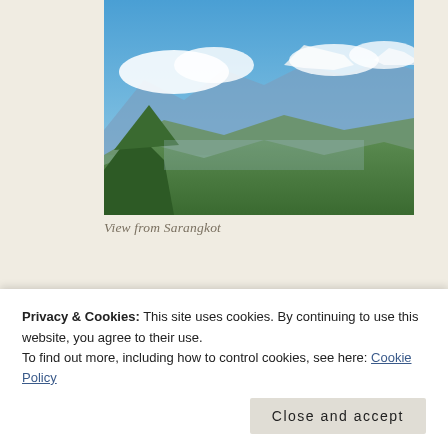[Figure (photo): Mountain landscape view from Sarangkot showing blue sky, snow-capped peaks, clouds, green forested hills and valleys]
View from Sarangkot
[Figure (photo): Close-up of rocky stone surface with moss and texture, partially obscured by cookie banner]
Privacy & Cookies: This site uses cookies. By continuing to use this website, you agree to their use.
To find out more, including how to control cookies, see here: Cookie Policy
Close and accept